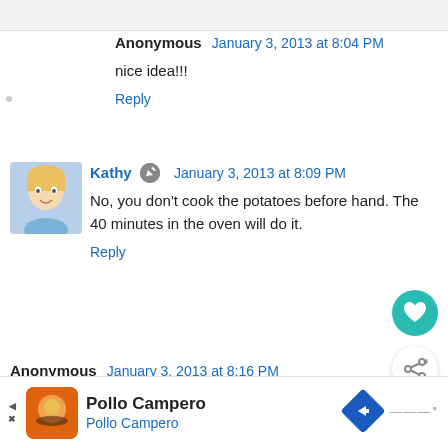Anonymous  January 3, 2013 at 8:04 PM
nice idea!!!
Reply
[Figure (photo): Avatar photo of Kathy - blonde woman]
Kathy  January 3, 2013 at 8:09 PM
No, you don't cook the potatoes before hand. The 40 minutes in the oven will do it.
Reply
Anonymous  January 3, 2013 at 8:16 PM
I'm soo trying to cook healthier.wonder do u ne oil and cheese or would they be good with less anyone tried
Reply
WHAT'S NEXT → Cheesy Fried Tater Skillet!
Pollo Campero  Pollo Campero